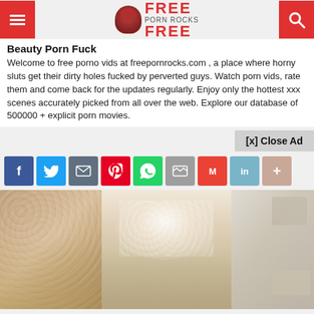FREE PORN ROCKS FREE — website header with logo and navigation
Beauty Porn Fuck
Welcome to free porno vids at freepornrocks.com , a place where horny sluts get their dirty holes fucked by perverted guys. Watch porn vids, rate them and come back for the updates regularly. Enjoy only the hottest xxx scenes accurately picked from all over the web. Explore our database of 500000 + explicit porn movies.
[x] Close Ad
[Figure (screenshot): Social media share buttons: Facebook, Twitter, Email, Pinterest, WhatsApp, Reddit, Gmail, LinkedIn, and a plus button]
[Figure (photo): Adult content photo showing women in lingerie]